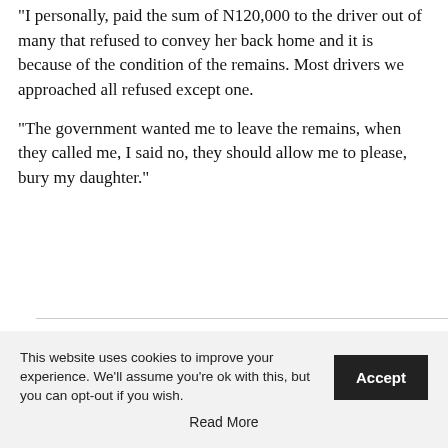“I personally, paid the sum of N120,000 to the driver out of many that refused to convey her back home and it is because of the condition of the remains. Most drivers we approached all refused except one.
“The government wanted me to leave the remains, when they called me, I said no, they should allow me to please, bury my daughter.”
This website uses cookies to improve your experience. We’ll assume you’re ok with this, but you can opt-out if you wish.
Read More